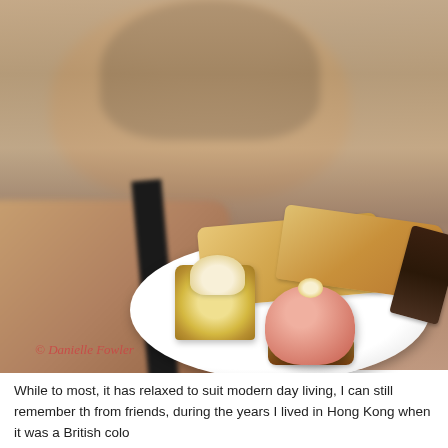[Figure (photo): A woman holding a white plate with assorted pastries and desserts including a lemon meringue tart, a pink dome dessert with flower decoration, bread slices, and a chocolate piece. The woman is blurred in the background with the plate in sharp focus. A red italic watermark reads '© Danielle Fowler'.]
While to most, it has relaxed to suit modern day living, I can still remember th from friends, during the years I lived in Hong Kong when it was a British colo